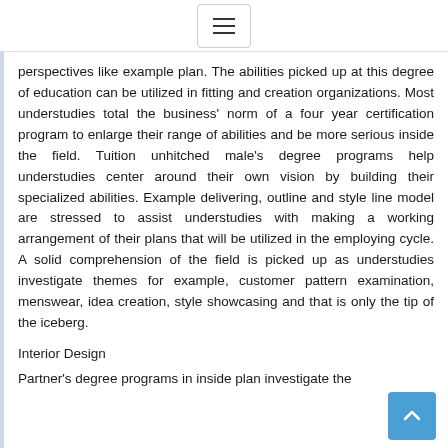[hamburger menu icon]
perspectives like example plan. The abilities picked up at this degree of education can be utilized in fitting and creation organizations. Most understudies total the business' norm of a four year certification program to enlarge their range of abilities and be more serious inside the field. Tuition unhitched male's degree programs help understudies center around their own vision by building their specialized abilities. Example delivering, outline and style line model are stressed to assist understudies with making a working arrangement of their plans that will be utilized in the employing cycle. A solid comprehension of the field is picked up as understudies investigate themes for example, customer pattern examination, menswear, idea creation, style showcasing and that is only the tip of the iceberg.
Interior Design
Partner's degree programs in inside plan investigate the